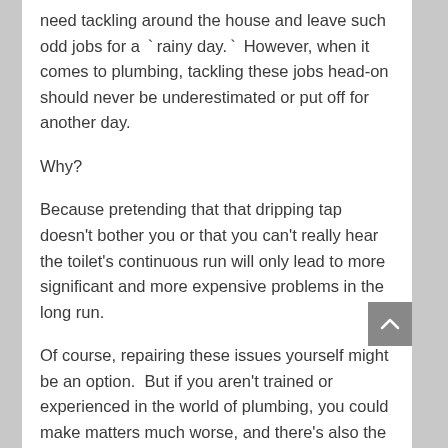need tackling around the house and leave such odd jobs for a `rainy day.` However, when it comes to plumbing, tackling these jobs head-on should never be underestimated or put off for another day.
Why?
Because pretending that that dripping tap doesn't bother you or that you can't really hear the toilet's continuous run will only lead to more significant and more expensive problems in the long run.
Of course, repairing these issues yourself might be an option.  But if you aren't trained or experienced in the world of plumbing, you could make matters much worse, and there's also the safety aspect to consider too!